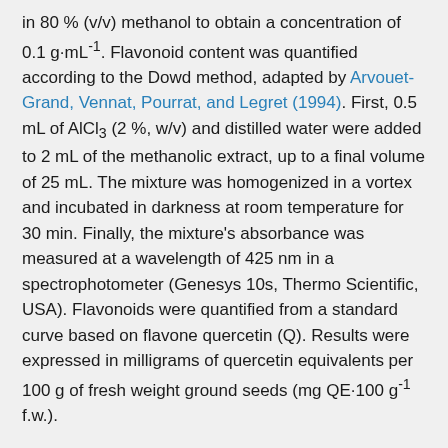in 80 % (v/v) methanol to obtain a concentration of 0.1 g·mL⁻¹. Flavonoid content was quantified according to the Dowd method, adapted by Arvouet-Grand, Vennat, Pourrat, and Legret (1994). First, 0.5 mL of AlCl₃ (2 %, w/v) and distilled water were added to 2 mL of the methanolic extract, up to a final volume of 25 mL. The mixture was homogenized in a vortex and incubated in darkness at room temperature for 30 min. Finally, the mixture's absorbance was measured at a wavelength of 425 nm in a spectrophotometer (Genesys 10s, Thermo Scientific, USA). Flavonoids were quantified from a standard curve based on flavone quercetin (Q). Results were expressed in milligrams of quercetin equivalents per 100 g of fresh weight ground seeds (mg QE·100 g⁻¹ f.w.).
Quantification of condensed tannins
First, 200 mg of ground seeds were mixed with 10 mL of 1 % HCl in methanol (v/v). The mixture was kept under